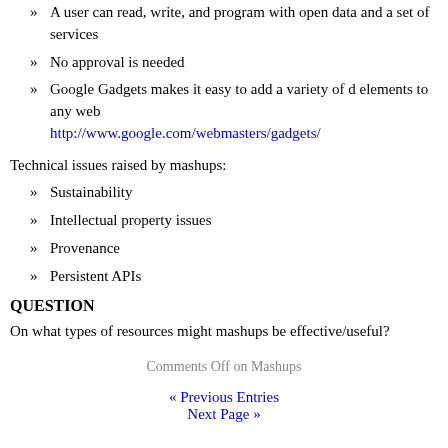A user can read, write, and program with open data and a set of services
No approval is needed
Google Gadgets makes it easy to add a variety of d elements to any web http://www.google.com/webmasters/gadgets/
Technical issues raised by mashups:
Sustainability
Intellectual property issues
Provenance
Persistent APIs
QUESTION
On what types of resources might mashups be effective/useful?
Comments Off on Mashups
« Previous Entries
Next Page »